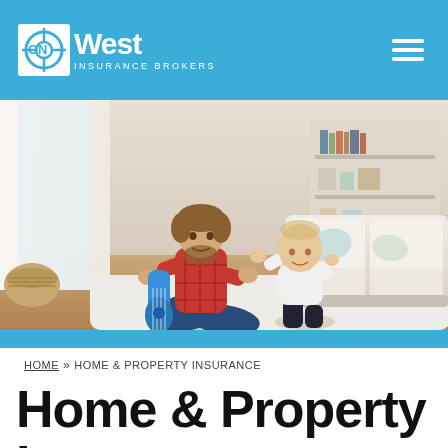ONWest Insurance Brokers
[Figure (photo): Father sitting cross-legged on a white rug playing a blue ukulele for a toddler in a bright modern living room with white sofa and large windows]
HOME » HOME & PROPERTY INSURANCE
Home & Property Insurance